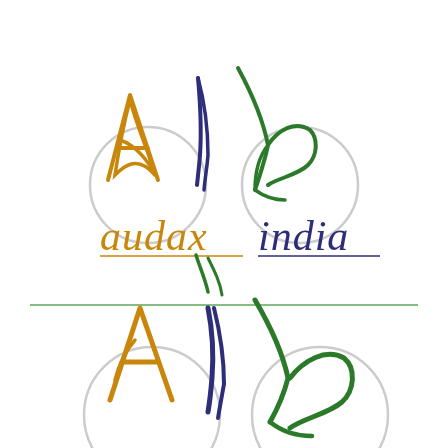[Figure (logo): Audax India logo shown twice. The logo features two stylized cyclists rendered as abstract line figures on bicycles with circular wheels in light gray. The first cyclist figure uses saffron/orange and dark blue/navy colors forming an 'A' shape, and the second uses green and dark blue forming a cyclist figure. Below the cyclists is the text 'audax' in saffron/orange serif italic font and 'india' in dark navy blue serif italic font with a horizontal underline. A thin green horizontal rule separates the top and bottom halves. The bottom half mirrors the top logo at a larger scale, showing the same two cyclist figures and partial text.]